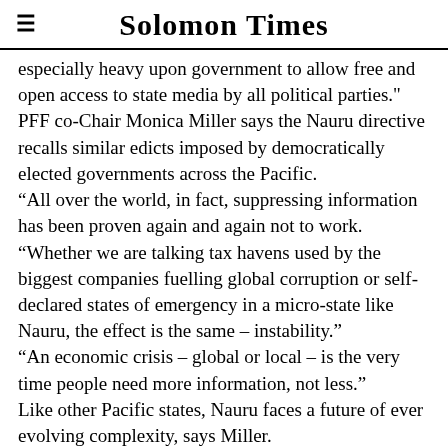Solomon Times
especially heavy upon government to allow free and open access to state media by all political parties." PFF co-Chair Monica Miller says the Nauru directive recalls similar edicts imposed by democratically elected governments across the Pacific.
“All over the world, in fact, suppressing information has been proven again and again not to work.
“Whether we are talking tax havens used by the biggest companies fuelling global corruption or self-declared states of emergency in a micro-state like Nauru, the effect is the same – instability."
“An economic crisis – global or local – is the very time people need more information, not less."
Like other Pacific states, Nauru faces a future of ever evolving complexity, says Miller.
“To survive, let alone to compete, Nauru needs to retain its best minds, and attract back people it sends overseas for education.